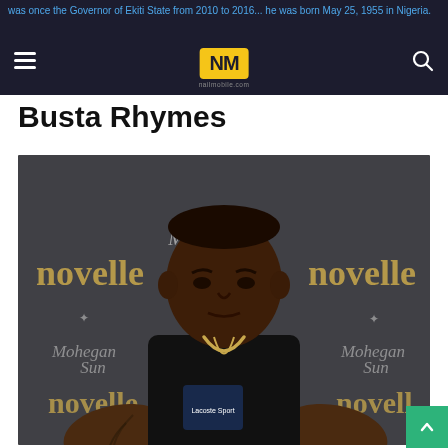was once the Governor of Ekiti State from 2010 to 2014... he was born May 25, 1955 in Nigeria.
Busta Rhymes
[Figure (photo): Busta Rhymes standing in front of a branded backdrop featuring 'novelle' and 'Mohegan Sun' logos, wearing a black Lacoste Sport t-shirt with a gold chain necklace. He has tattoos on his arms.]